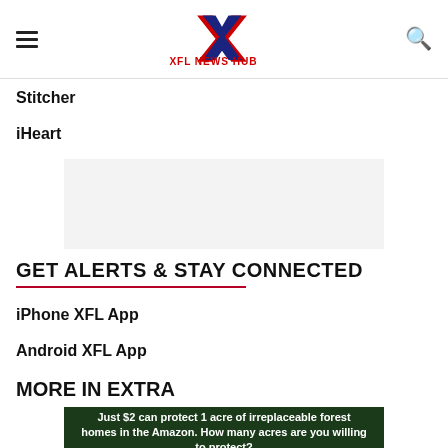XFL NEWS HUB
Stitcher
iHeart
[Figure (other): Advertisement placeholder rectangle with gray background]
GET ALERTS & STAY CONNECTED
iPhone XFL App
Android XFL App
MORE IN EXTRA
[Figure (other): Advertisement banner: green forest background with text 'Just $2 can protect 1 acre of irreplaceable forest homes in the Amazon. How many acres are you willing to protect?' and a green button 'PROTECT FORESTS NOW']